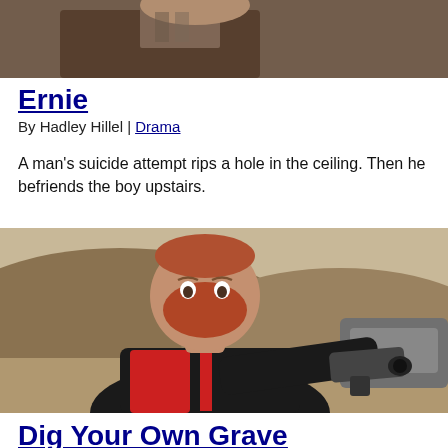[Figure (photo): Partial view of an older man in a brown jacket and patterned shirt, cropped at the top of the page]
Ernie
By Hadley Hillel | Drama
A man's suicide attempt rips a hole in the ceiling. Then he befriends the boy upstairs.
[Figure (photo): A red-bearded man in a black and red tracksuit pointing a gun toward the camera, with hills in the background]
Dig Your Own Grave